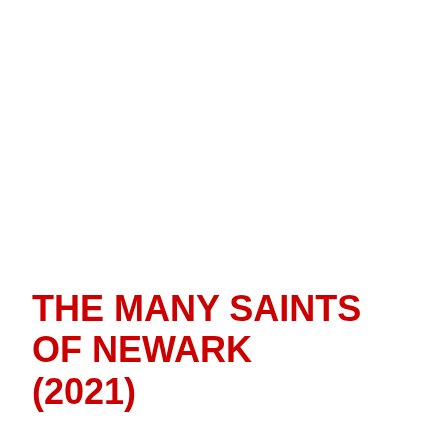THE MANY SAINTS OF NEWARK (2021)